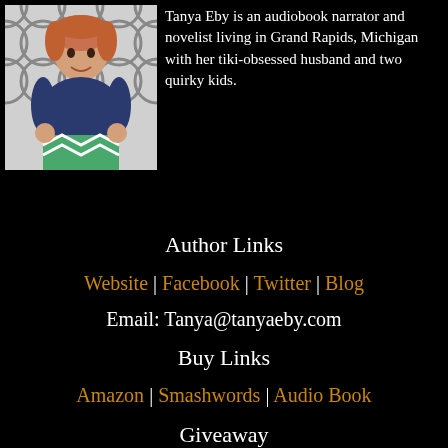[Figure (photo): Author photo of Tanya Eby, a woman with short reddish hair wearing a navy blue top and green chevron skirt, posed against a black and white geometric patterned background.]
Tanya Eby is an audiobook narrator and novelist living in Grand Rapids, Michigan with her tiki-obsessed husband and two quirky kids.
Author Links
Website | Facebook | Twitter | Blog
Email: Tanya@tanyaeby.com
Buy Links
Amazon | Smashwords | Audio Book
Giveaway